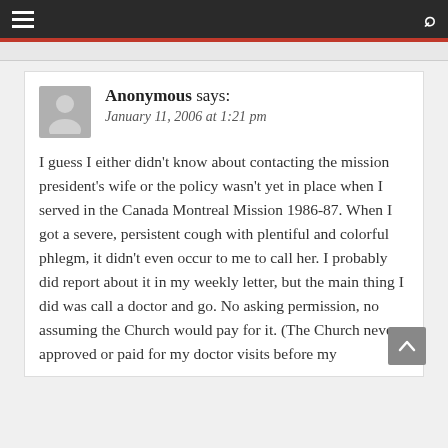Navigation menu and search
Anonymous says:
January 11, 2006 at 1:21 pm

I guess I either didn't know about contacting the mission president's wife or the policy wasn't yet in place when I served in the Canada Montreal Mission 1986-87. When I got a severe, persistent cough with plentiful and colorful phlegm, it didn't even occur to me to call her. I probably did report about it in my weekly letter, but the main thing I did was call a doctor and go. No asking permission, no assuming the Church would pay for it. (The Church never approved or paid for my doctor visits before my mission, so why would I think while I...